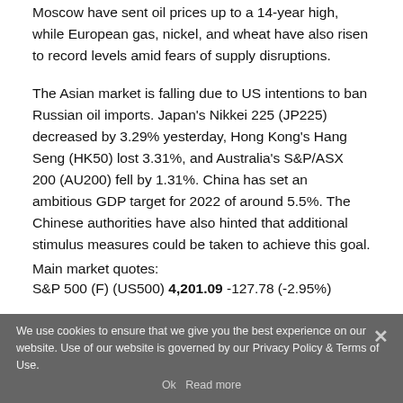Moscow have sent oil prices up to a 14-year high, while European gas, nickel, and wheat have also risen to record levels amid fears of supply disruptions.
The Asian market is falling due to US intentions to ban Russian oil imports. Japan's Nikkei 225 (JP225) decreased by 3.29% yesterday, Hong Kong's Hang Seng (HK50) lost 3.31%, and Australia's S&P/ASX 200 (AU200) fell by 1.31%. China has set an ambitious GDP target for 2022 of around 5.5%. The Chinese authorities have also hinted that additional stimulus measures could be taken to achieve this goal.
We use cookies to ensure that we give you the best experience on our website. Use of our website is governed by our Privacy Policy & Terms of Use.
Main market quotes:
S&P 500 (F) (US500) 4,201.09 -127.78 (-2.95%)